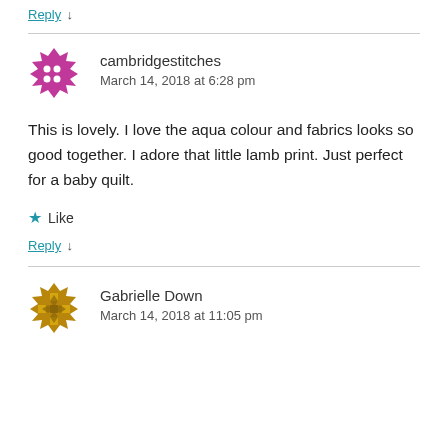Reply ↓
cambridgestitches
March 14, 2018 at 6:28 pm
This is lovely. I love the aqua colour and fabrics looks so good together. I adore that little lamb print. Just perfect for a baby quilt.
★ Like
Reply ↓
Gabrielle Down
March 14, 2018 at 11:05 pm